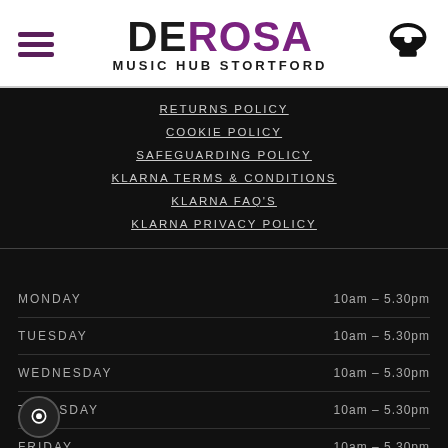DE ROSA MUSIC HUB STORTFORD
RETURNS POLICY
COOKIE POLICY
SAFEGUARDING POLICY
KLARNA TERMS & CONDITIONS
KLARNA FAQ'S
KLARNA PRIVACY POLICY
| DAY | HOURS |
| --- | --- |
| MONDAY | 10am - 5.30pm |
| TUESDAY | 10am - 5.30pm |
| WEDNESDAY | 10am - 5.30pm |
| THURSDAY | 10am - 5.30pm |
| FRIDAY | 10am - 5.30pm |